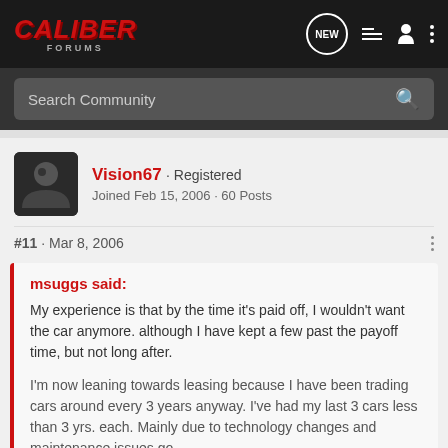CALIBER FORUMS
Search Community
Vision67 · Registered
Joined Feb 15, 2006 · 60 Posts
#11 · Mar 8, 2006
msuggs said:
My experience is that by the time it's paid off, I wouldn't want the car anymore. although I have kept a few past the payoff time, but not long after.

I'm now leaning towards leasing because I have been trading cars around every 3 years anyway. I've had my last 3 cars less than 3 yrs. each. Mainly due to technology changes and maintenance issues go
Click to expand...